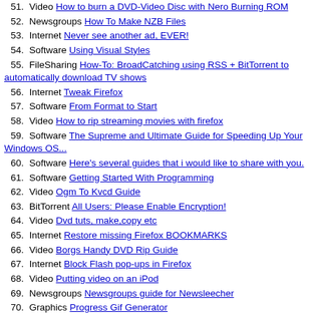51. Video How to burn a DVD-Video Disc with Nero Burning ROM
52. Newsgroups How To Make NZB Files
53. Internet Never see another ad, EVER!
54. Software Using Visual Styles
55. FileSharing How-To: BroadCatching using RSS + BitTorrent to automatically download TV shows
56. Internet Tweak Firefox
57. Software From Format to Start
58. Video How to rip streaming movies with firefox
59. Software The Supreme and Ultimate Guide for Speeding Up Your Windows OS...
60. Software Here's several guides that i would like to share with you.
61. Software Getting Started With Programming
62. Video Ogm To Kvcd Guide
63. BitTorrent All Users: Please Enable Encryption!
64. Video Dvd tuts, make,copy etc
65. Internet Restore missing Firefox BOOKMARKS
66. Video Borgs Handy DVD Rip Guide
67. Internet Block Flash pop-ups in Firefox
68. Video Putting video on an iPod
69. Newsgroups Newsgroups guide for Newsleecher
70. Graphics Progress Gif Generator
71. Software How To Remove "Nero Scout" From My Computer
72. Software How To Remove "My Sharing Folders" From My Computer
73. FileSharing Downloading off the irc got a little bit easier
74. BitTorrent How to set up uTorrent's Web UI